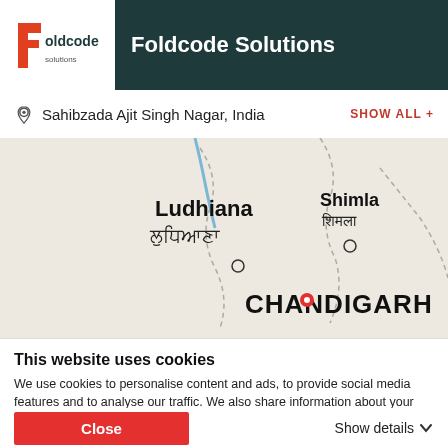Foldcode Solutions
Sahibzada Ajit Singh Nagar, India   SHOW ALL +
[Figure (map): Map showing northern India region with Ludhiana, Shimla, and Chandigarh labeled. A red pin marks Chandigarh.]
This website uses cookies
We use cookies to personalise content and ads, to provide social media features and to analyse our traffic. We also share information about your use of our site with our social media, advertising and analytics partners who may combine it with other information that you've provided to them or that they've collected from your use of their services. You agree to our cookies if you continue to use our website.
Close   Show details